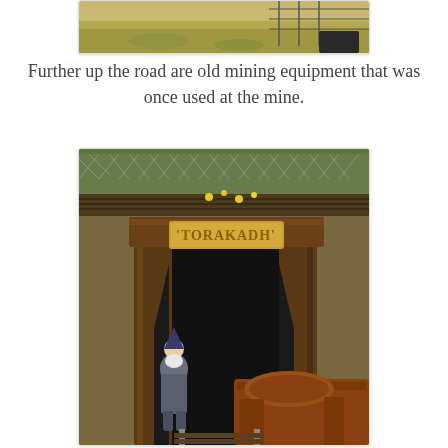[Figure (photo): Partial view of outdoor area with dry grass and fencing, old mining site]
Further up the road are old mining equipment that was once used at the mine.
[Figure (photo): Entrance to the Torakadh mine tunnel with wooden beam frame, a sign reading TORAKADH in yellow letters, a gnome statue at left, and rusty mining cart/equipment at lower right, with chain-link fence and yellow wildflowers visible in background]